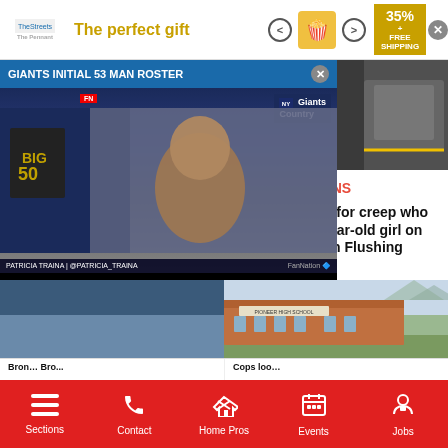[Figure (screenshot): Advertisement banner: The Perfect Gift with popcorn image, 35% off FREE SHIPPING offer]
[Figure (photo): Outdoor crowd at festival event]
Bronx Times
25th annual Ferragosto festival brings food and fun to Bronx's Little Italy
[Figure (photo): Interior photo, dark background with yellow trim]
QNS
Cops looking for creep who groped 15-year-old girl on Q20 bus in Flushing
[Figure (screenshot): Video player overlay: GIANTS INITIAL 53 MAN ROSTER - Giants Country FanNation video with Patricia Traina]
[Figure (photo): Pioneer High School exterior building photo]
Sections | Contact | Home Pros | Events | Jobs